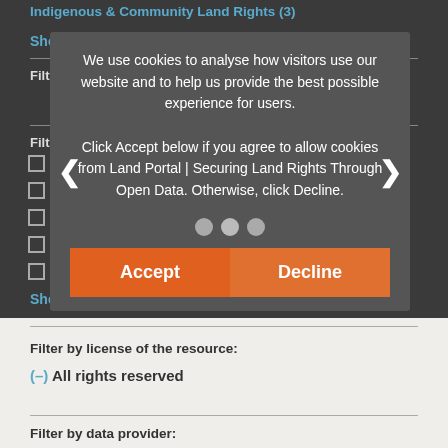Indigenous & Community Land Rights (3)
Show more
Filter by related concept:
Filter by resource type:
Journal Articles & Books (39)
Peer-reviewed publication (2)
Reports & Research (35)
Conference Papers & Reports (3)
Legislation & Politics (6)
Show more
[Figure (screenshot): Cookie consent overlay with Accept and Decline buttons. Text reads: We use cookies to analyse how visitors use our website and to help us provide the best possible experience for users. Click Accept below if you agree to allow cookies from Land Portal | Securing Land Rights Through Open Data. Otherwise, click Decline.]
Filter by license of the resource:
(-) All rights reserved
Filter by data provider: